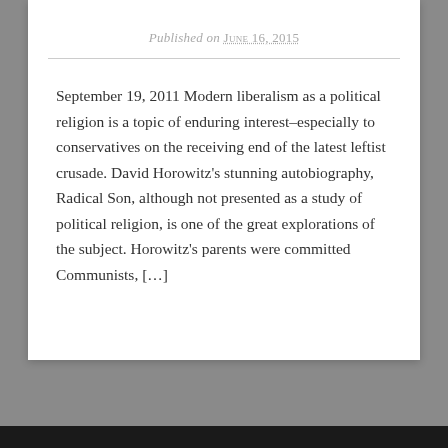Published on June 16, 2015
September 19, 2011 Modern liberalism as a political religion is a topic of enduring interest–especially to conservatives on the receiving end of the latest leftist crusade. David Horowitz's stunning autobiography, Radical Son, although not presented as a study of political religion, is one of the great explorations of the subject. Horowitz's parents were committed Communists, […]